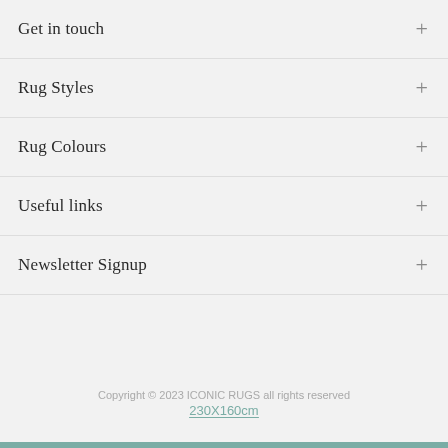Get in touch
Rug Styles
Rug Colours
Useful links
Newsletter Signup
Copyright © 2023 ICONIC RUGS all rights reserved
230X160cm